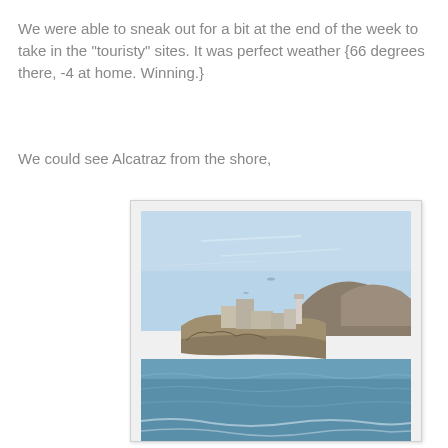We were able to sneak out for a bit at the end of the week to take in the "touristy" sites.  It was perfect weather {66 degrees there, -4 at home.  Winning.}
We could see Alcatraz from the shore,
[Figure (photo): Photograph of Alcatraz island viewed from the shore across San Francisco Bay. The island shows rocky cliff faces with buildings and a lighthouse on top. Blue sky with light clouds in the background, hills visible to the right, blue water in the foreground with small waves.]